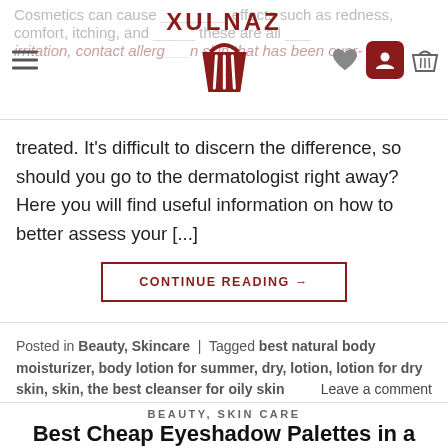XULNAZ (navigation bar with logo, hamburger menu, heart icon, user icon, basket icon)
Cosmetics can cause side effects such as redness, comfort, itching, and more. These are all signs of irritation, contact allergies on skin that has been over-treated. It’s difficult to discern the difference, so should you go to the dermatologist right away? Here you will find useful information on how to better assess your [...]
CONTINUE READING →
Posted in Beauty, Skincare | Tagged best natural body moisturizer, body lotion for summer, dry, lotion, lotion for dry skin, skin, the best cleanser for oily skin
Leave a comment
BEAUTY, SKIN CARE
Best Cheap Eyeshadow Palettes in a Variety of Colors to Inspire Your Creativity
POSTED ON MARCH 26, 2020 BY XULNAZ